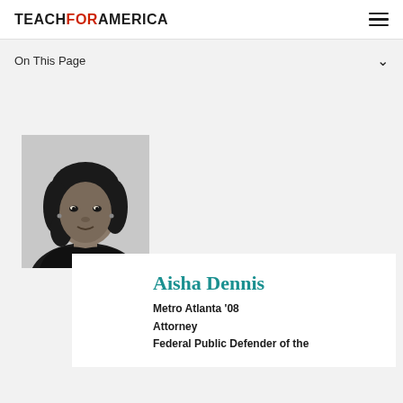TEACH FOR AMERICA
On This Page
[Figure (photo): Black and white portrait photo of Aisha Dennis, a woman with shoulder-length hair looking slightly downward]
Aisha Dennis
Metro Atlanta '08
Attorney
Federal Public Defender of the